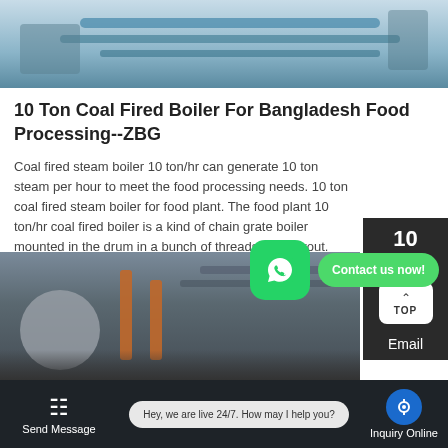[Figure (photo): Top portion of industrial boiler facility showing metal pipes and equipment against a light blue/grey background]
10 Ton Coal Fired Boiler For Bangladesh Food Processing--ZBG
Coal fired steam boiler 10 ton/hr can generate 10 ton steam per hour to meet the food processing needs. 10 ton coal fired steam boiler for food plant. The food plant 10 ton/hr coal fired boiler is a kind of chain grate boiler mounted in the drum in a bunch of threads pipe layout. Around the furnace is equipped with two side water wall tubes.
Learn More
[Figure (photo): Industrial boiler equipment with pipes, orange/copper colored tubing visible in a factory setting]
[Figure (screenshot): WhatsApp contact button with green icon and Contact us now! speech bubble]
Hey, we are live 24/7. How may I help you?
Send Message
Inquiry Online